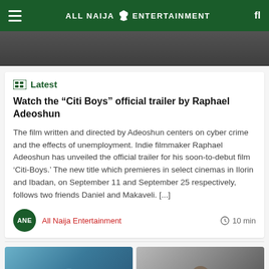ALL NAIJA ENTERTAINMENT
[Figure (photo): Top image strip showing a person in dark tones]
Latest
Watch the “Citi Boys” official trailer by Raphael Adeoshun
The film written and directed by Adeoshun centers on cyber crime and the effects of unemployment. Indie filmmaker Raphael Adeoshun has unveiled the official trailer for his soon-to-debut film ‘Citi-Boys.’ The new title which premieres in select cinemas in Ilorin and Ibadan, on September 11 and September 25 respectively, follows two friends Daniel and Makaveli. [...]
All Naija Entertainment
10 min
[Figure (photo): Two thumbnail images of people at the bottom of the page]